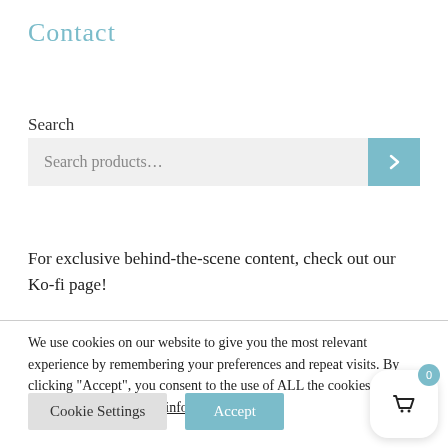Contact
Search
Search products...
For exclusive behind-the-scene content, check out our Ko-fi page!
We use cookies on our website to give you the most relevant experience by remembering your preferences and repeat visits. By clicking “Accept”, you consent to the use of ALL the cookies. Do not sell my personal information.
Cookie Settings
Accept